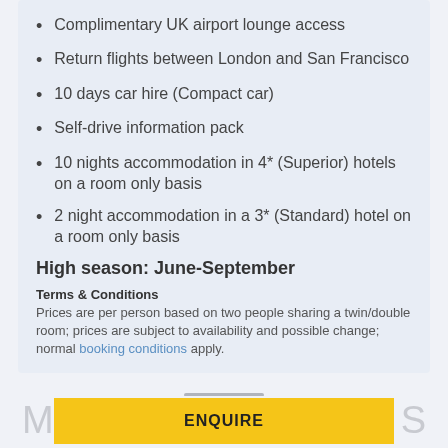Complimentary UK airport lounge access
Return flights between London and San Francisco
10 days car hire (Compact car)
Self-drive information pack
10 nights accommodation in 4* (Superior) hotels on a room only basis
2 night accommodation in a 3* (Standard) hotel on a room only basis
High season: June-September
Terms & Conditions
Prices are per person based on two people sharing a twin/double room; prices are subject to availability and possible change; normal booking conditions apply.